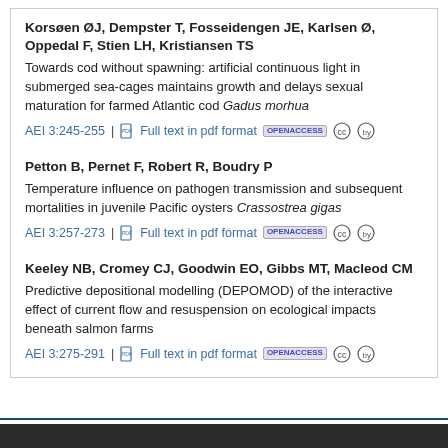Korsøen ØJ, Dempster T, Fosseidengen JE, Karlsen Ø, Oppedal F, Stien LH, Kristiansen TS
Towards cod without spawning: artificial continuous light in submerged sea-cages maintains growth and delays sexual maturation for farmed Atlantic cod Gadus morhua
AEI 3:245-255 | Full text in pdf format
Petton B, Pernet F, Robert R, Boudry P
Temperature influence on pathogen transmission and subsequent mortalities in juvenile Pacific oysters Crassostrea gigas
AEI 3:257-273 | Full text in pdf format
Keeley NB, Cromey CJ, Goodwin EO, Gibbs MT, Macleod CM
Predictive depositional modelling (DEPOMOD) of the interactive effect of current flow and resuspension on ecological impacts beneath salmon farms
AEI 3:275-291 | Full text in pdf format
Copyright and Disclaimer   Privacy Policy   Contact